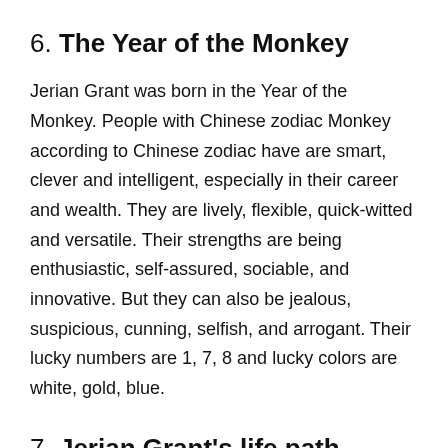6. The Year of the Monkey
Jerian Grant was born in the Year of the Monkey. People with Chinese zodiac Monkey according to Chinese zodiac have are smart, clever and intelligent, especially in their career and wealth. They are lively, flexible, quick-witted and versatile. Their strengths are being enthusiastic, self-assured, sociable, and innovative. But they can also be jealous, suspicious, cunning, selfish, and arrogant. Their lucky numbers are 1, 7, 8 and lucky colors are white, gold, blue.
7. Jerian Grant's life path number is 4